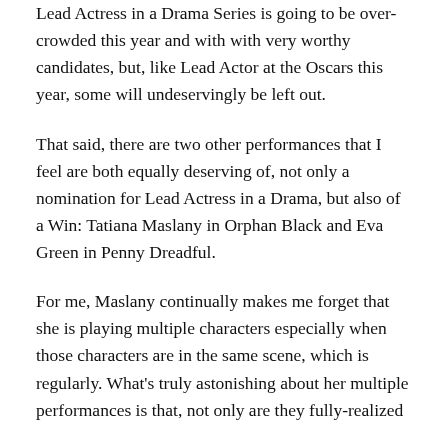Lead Actress in a Drama Series is going to be over-crowded this year and with with very worthy candidates, but, like Lead Actor at the Oscars this year, some will undeservingly be left out.
That said, there are two other performances that I feel are both equally deserving of, not only a nomination for Lead Actress in a Drama, but also of a Win: Tatiana Maslany in Orphan Black and Eva Green in Penny Dreadful.
For me, Maslany continually makes me forget that she is playing multiple characters especially when those characters are in the same scene, which is regularly. What's truly astonishing about her multiple performances is that, not only are they fully-realized individually, but one can say that they all...